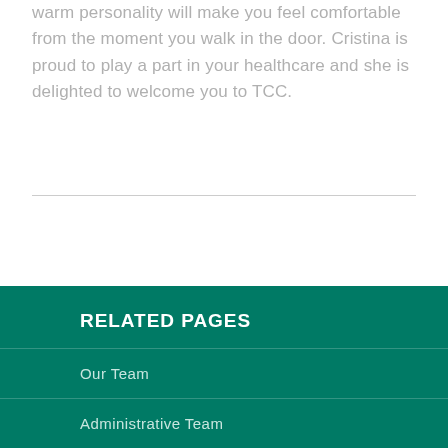warm personality will make you feel comfortable from the moment you walk in the door. Cristina is proud to play a part in your healthcare and she is delighted to welcome you to TCC.
RELATED PAGES
Our Team
Administrative Team
Nursing